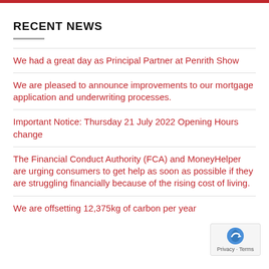RECENT NEWS
We had a great day as Principal Partner at Penrith Show
We are pleased to announce improvements to our mortgage application and underwriting processes.
Important Notice: Thursday 21 July 2022 Opening Hours change
The Financial Conduct Authority (FCA) and MoneyHelper are urging consumers to get help as soon as possible if they are struggling financially because of the rising cost of living.
We are offsetting 12,375kg of carbon per year